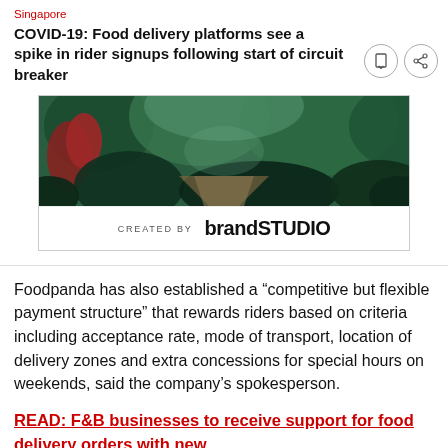Singapore
COVID-19: Food delivery platforms see a spike in rider signups following start of circuit breaker
[Figure (photo): Advertisement image with tropical/jungle background and brandSTUDIO branding. Shows 'CREATED BY brandSTUDIO' text on white panel below image.]
Foodpanda has also established a “competitive but flexible payment structure” that rewards riders based on criteria including acceptance rate, mode of transport, location of delivery zones and extra concessions for special hours on weekends, said the company’s spokesperson.
READ: F&B businesses to receive support for food delivery orders with new